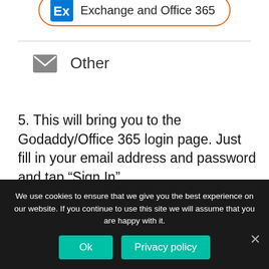[Figure (screenshot): Partially visible Exchange and Office 365 button with orange border and icon at top of page]
Other
5. This will bring you to the Godaddy/Office 365 login page. Just fill in your email address and password and tap “Sign In”
Congratulations!! You completed the Godaddy email address setup with Gmail. You can now find your Godaddy email
We use cookies to ensure that we give you the best experience on our website. If you continue to use this site we will assume that you are happy with it.